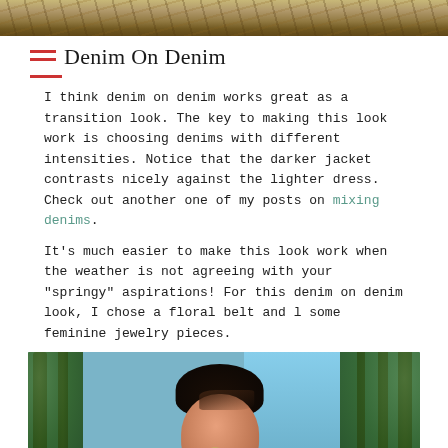[Figure (photo): Top portion of an outdoor nature/forest photo, showing tree branches and foliage in warm golden tones]
Denim On Denim
I think denim on denim works great as a transition look. The key to making this look work is choosing denims with different intensities. Notice that the darker jacket contrasts nicely against the lighter dress. Check out another one of my posts on mixing denims.
It's much easier to make this look work when the weather is not agreeing with your "springy" aspirations! For this denim on denim look, I chose a floral belt and l some feminine jewelry pieces.
[Figure (photo): A smiling woman with short dark hair standing outdoors among tall pine trees with blue sky visible in the background]